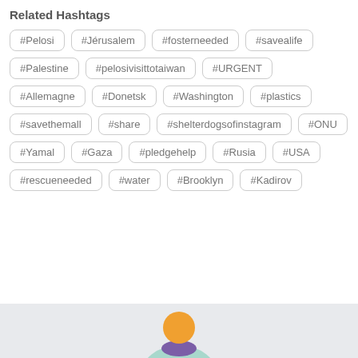Related Hashtags
#Pelosi
#Jérusalem
#fosterneeded
#savealife
#Palestine
#pelosivisittotaiwan
#URGENT
#Allemagne
#Donetsk
#Washington
#plastics
#savethemall
#share
#shelterdogsofinstagram
#ONU
#Yamal
#Gaza
#pledgehelp
#Rusia
#USA
#rescueneeded
#water
#Brooklyn
#Kadirov
[Figure (illustration): User avatar icon with orange head and purple/teal body, partially visible at the bottom of the page on a light gray background]